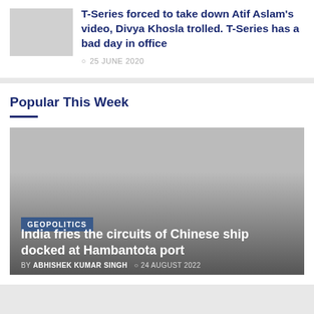T-Series forced to take down Atif Aslam's video, Divya Khosla trolled. T-Series has a bad day in office
25 JUNE 2020
Popular This Week
[Figure (photo): Featured article image with dark gradient overlay for 'India fries the circuits of Chinese ship docked at Hambantota port']
GEOPOLITICS
India fries the circuits of Chinese ship docked at Hambantota port
BY ABHISHEK KUMAR SINGH  24 AUGUST 2022